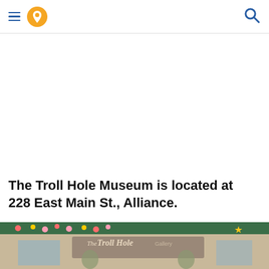navigation header with hamburger menu, location pin icon, and search icon
The Troll Hole Museum is located at 228 East Main St., Alliance.
[Figure (photo): Exterior photo of The Troll Hole museum building showing a storefront sign reading 'The Troll Hole Gallery' with colorful flowers and greenery visible at the top and troll figurine decorations near the entrance.]